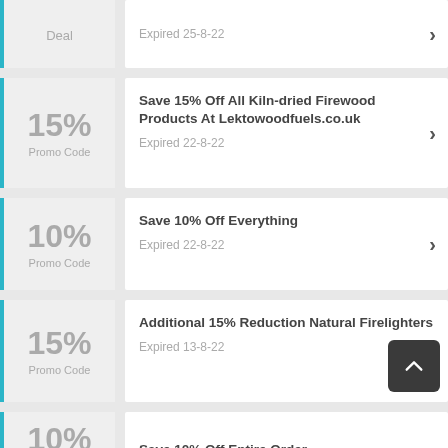Deal | Expired 25-8-22
15% Promo Code | Save 15% Off All Kiln-dried Firewood Products At Lektowoodfuels.co.uk | Expired 22-8-22
10% Promo Code | Save 10% Off Everything | Expired 22-8-22
15% Promo Code | Additional 15% Reduction Natural Firelighters | Expired 13-8-22
10% | Save 10% Off Entire Order